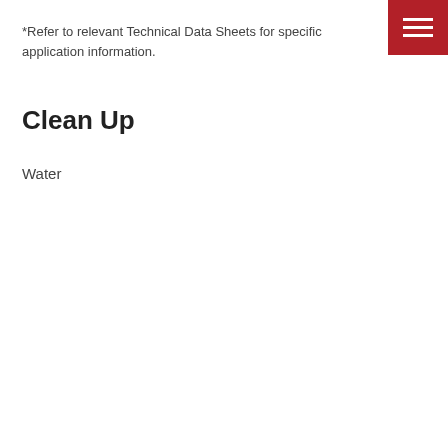*Refer to relevant Technical Data Sheets for specific application information.
[Figure (other): Red hamburger menu icon in top-right corner]
Clean Up
Water